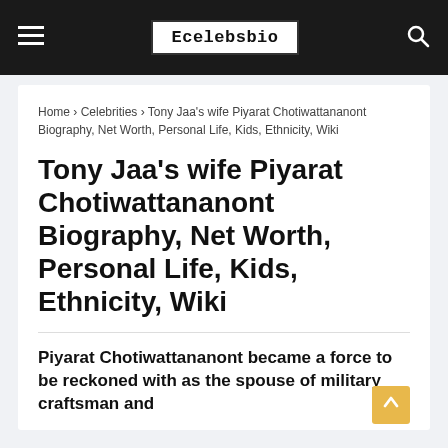Ecelebsbio
Home › Celebrities › Tony Jaa's wife Piyarat Chotiwattananont Biography, Net Worth, Personal Life, Kids, Ethnicity, Wiki
Tony Jaa's wife Piyarat Chotiwattananont Biography, Net Worth, Personal Life, Kids, Ethnicity, Wiki
Piyarat Chotiwattananont became a force to be reckoned with as the spouse of military craftsman and